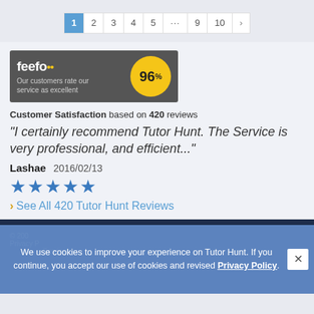[Figure (screenshot): Pagination bar with pages 1 (active/highlighted in blue), 2, 3, 4, 5, ..., 9, 10, and a next arrow]
[Figure (logo): Feefo badge: dark grey background with feefo logo and yellow circle showing 96%]
Customer Satisfaction based on 420 reviews
"I certainly recommend Tutor Hunt. The Service is very professional, and efficient..."
Lashae 2016/02/13
[Figure (other): Five blue star rating icons]
> See All 420 Tutor Hunt Reviews
We use cookies to improve your experience on Tutor Hunt. If you continue, you accept our use of cookies and revised Privacy Policy.